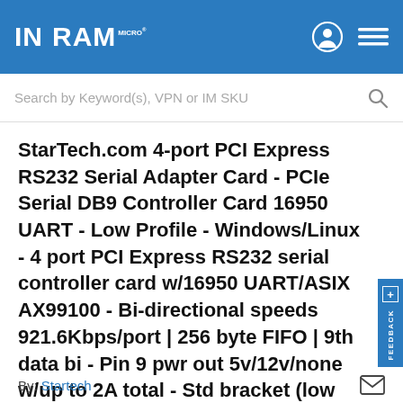INGRAM MICRO
Search by Keyword(s), VPN or IM SKU
StarTech.com 4-port PCI Express RS232 Serial Adapter Card - PCIe Serial DB9 Controller Card 16950 UART - Low Profile - Windows/Linux - 4 port PCI Express RS232 serial controller card w/16950 UART/ASIX AX99100 - Bi-directional speeds 921.6Kbps/port | 256 byte FIFO | 9th data bi - Pin 9 pwr out 5v/12v/none w/up to 2A total - Std bracket (low profile incl); Breakout cable - Win/Linux Less
By: Startech